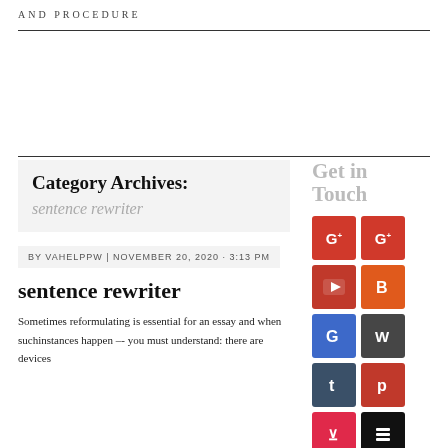AND PROCEDURE
Category Archives:
sentence rewriter
BY VAHELPPW | NOVEMBER 20, 2020 · 3:13 PM
sentence rewriter
Sometimes reformulating is essential for an essay and when suchinstances happen &ndash;- you must understand: there are devices
Get in Touch
[Figure (infographic): Social media icon buttons grid: two columns of square colored buttons — Google+, Google+, YouTube, Blogger, Google, WordPress, Tumblr, Pinterest, Pocket, Buffer]